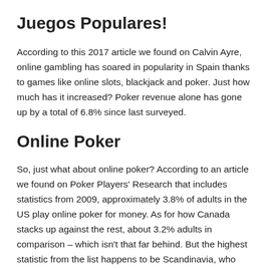Juegos Populares!
According to this 2017 article we found on Calvin Ayre, online gambling has soared in popularity in Spain thanks to games like online slots, blackjack and poker. Just how much has it increased? Poker revenue alone has gone up by a total of 6.8% since last surveyed.
Online Poker
So, just what about online poker? According to an article we found on Poker Players' Research that includes statistics from 2009, approximately 3.8% of adults in the US play online poker for money. As for how Canada stacks up against the rest, about 3.2% adults in comparison – which isn't that far behind. But the highest statistic from the list happens to be Scandinavia, who has a pretty incredible